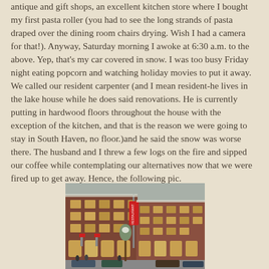antique and gift shops, an excellent kitchen store where I bought my first pasta roller (you had to see the long strands of pasta draped over the dining room chairs drying. Wish I had a camera for that!). Anyway, Saturday morning I awoke at 6:30 a.m. to the above. Yep, that's my car covered in snow. I was too busy Friday night eating popcorn and watching holiday movies to put it away. We called our resident carpenter (and I mean resident-he lives in the lake house while he does said renovations. He is currently putting in hardwood floors throughout the house with the exception of the kitchen, and that is the reason we were going to stay in South Haven, no floor.)and he said the snow was worse there. The husband and I threw a few logs on the fire and sipped our coffee while contemplating our alternatives now that we were fired up to get away. Hence, the following pic.
[Figure (photo): A photograph of a multi-story red brick building on a city street corner, appearing to be a commercial district in winter with snow visible. Red signage visible on the building facade.]